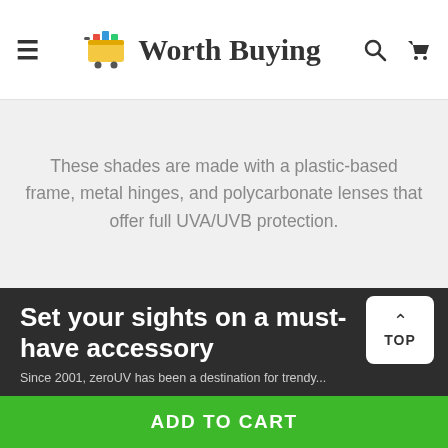Worth Buying
These shades are made with a plastic-based frame, metal hinges, and polycarbonate lenses that offer full UVA/UVB protection.
Set your sights on a must-have accessory
Since 2001, zeroUV has been a destination for trendy...
ADD TO CART